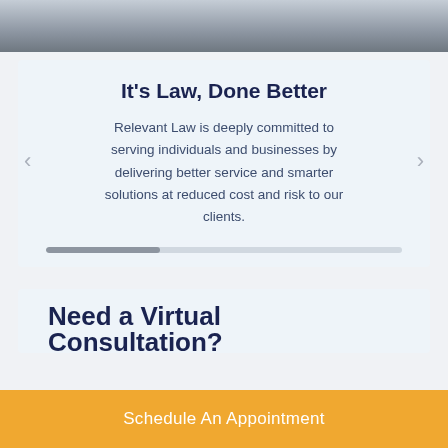[Figure (photo): Partial photo of a man in a suit, cropped at chest level, visible at top of page]
It's Law, Done Better
Relevant Law is deeply committed to serving individuals and businesses by delivering better service and smarter solutions at reduced cost and risk to our clients.
[Figure (other): Progress/slider bar indicator, partially filled]
[Figure (other): Lower card section partially visible with beginning of heading text 'Need a Virtual Consultation?']
Schedule An Appointment